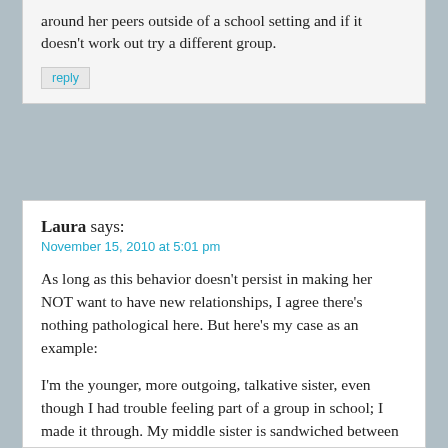around her peers outside of a school setting and if it doesn't work out try a different group.
reply
Laura says:
November 15, 2010 at 5:01 pm
As long as this behavior doesn't persist in making her NOT want to have new relationships, I agree there's nothing pathological here. But here's my case as an example:
I'm the younger, more outgoing, talkative sister, even though I had trouble feeling part of a group in school; I made it through. My middle sister is sandwiched between a loquacious older and younger sister; she has always been withdrawn and depression prone, socially anxious.
In my case, I regret my parents not taking my sister to counseling early in life since she hasn't developed the